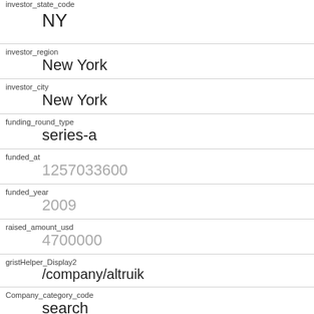investor_state_code
    NY
investor_region
    New York
investor_city
    New York
funding_round_type
    series-a
funded_at
    1257033600
funded_year
    2009
raised_amount_usd
    4700000
gristHelper_Display2
    /company/altruik
Company_category_code
    search
Investor
    Tribeca Venture Partners
    https://www.crunchbase.com/financial-